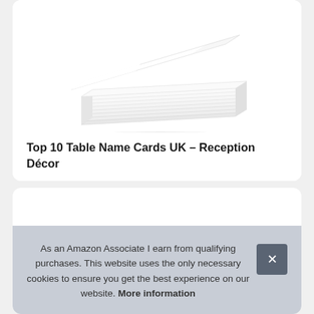[Figure (photo): Product photo of a stack of white table name cards (blank cardstock), viewed from above at an angle showing the layered stack.]
Top 10 Table Name Cards UK – Reception Décor
As an Amazon Associate I earn from qualifying purchases. This website uses the only necessary cookies to ensure you get the best experience on our website. More information